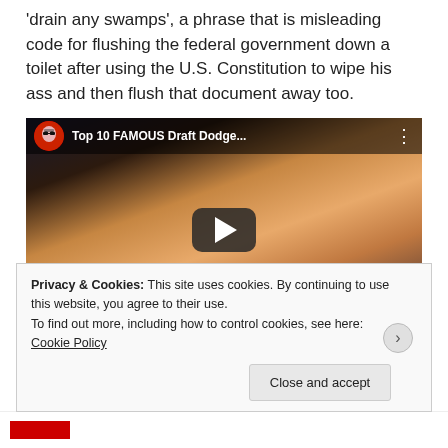'drain any swamps', a phrase that is misleading code for flushing the federal government down a toilet after using the U.S. Constitution to wipe his ass and then flush that document away too.
[Figure (screenshot): YouTube video thumbnail showing 'Top 10 FAMOUS Draft Dodge...' with a play button overlay and a face in the background.]
Privacy & Cookies: This site uses cookies. By continuing to use this website, you agree to their use.
To find out more, including how to control cookies, see here: Cookie Policy
Close and accept